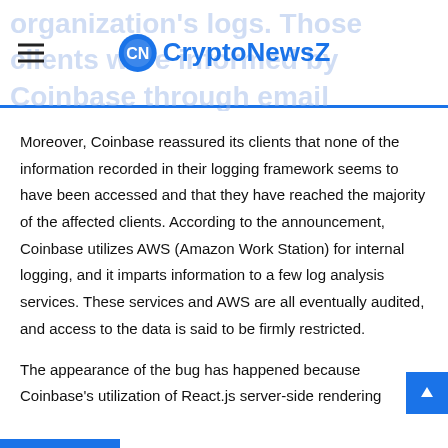CryptoNewsZ
Moreover, Coinbase reassured its clients that none of the information recorded in their logging framework seems to have been accessed and that they have reached the majority of the affected clients. According to the announcement, Coinbase utilizes AWS (Amazon Work Station) for internal logging, and it imparts information to a few log analysis services. These services and AWS are all eventually audited, and access to the data is said to be firmly restricted.
The appearance of the bug has happened because Coinbase's utilization of React.js server-side rendering